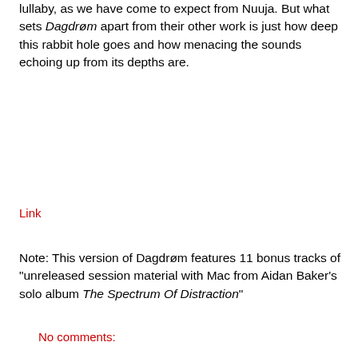lullaby, as we have come to expect from Nuuja. But what sets Dagdrøm apart from their other work is just how deep this rabbit hole goes and how menacing the sounds echoing up from its depths are.
Link
Note: This version of Dagdrøm features 11 bonus tracks of "unreleased session material with Mac from Aidan Baker's solo album The Spectrum Of Distraction"
No comments: